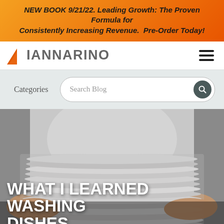NEW BOOK 9/21/22. Leading Growth: The Proven Formula for Consistently Increasing Revenue. Pre-Order Today!
[Figure (logo): Iannarino logo with orange triangle and grey text, plus hamburger menu icon]
Categories   Search Blog
[Figure (photo): Hands holding a large stack of white ceramic plates, person wearing white shirt, blurred background]
WHAT I LEARNED WASHING DISHES